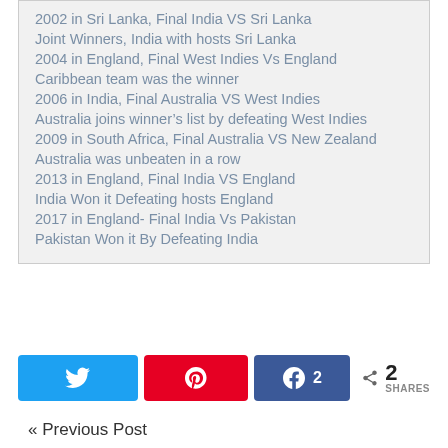2002 in Sri Lanka, Final India VS Sri Lanka
Joint Winners, India with hosts Sri Lanka
2004 in England, Final West Indies Vs England
Caribbean team was the winner
2006 in India, Final Australia VS West Indies
Australia joins winner’s list by defeating West Indies
2009 in South Africa, Final Australia VS New Zealand
Australia was unbeaten in a row
2013 in England, Final India VS England
India Won it Defeating hosts England
2017 in England- Final India Vs Pakistan
Pakistan Won it By Defeating India
2  SHARES
« Previous Post